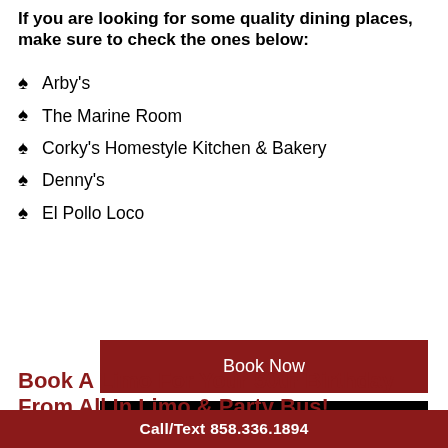If you are looking for some quality dining places, make sure to check the ones below:
Arby's
The Marine Room
Corky's Homestyle Kitchen & Bakery
Denny's
El Pollo Loco
Book Now
Read More
Book A Limo For Your 50th Birthday From All In Limo & Party Bus!
Call/Text 858.336.1894